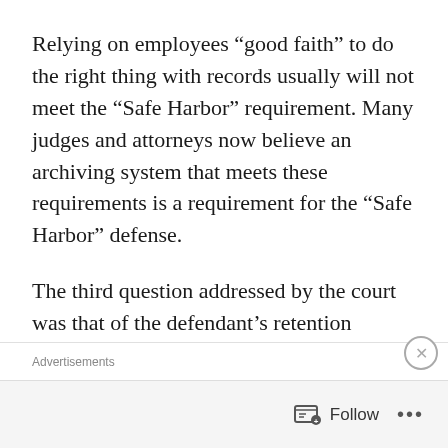Relying on employees “good faith” to do the right thing with records usually will not meet the “Safe Harbor” requirement. Many judges and attorneys now believe an archiving system that meets these requirements is a requirement for the “Safe Harbor” defense.
The third question addressed by the court was that of the defendant’s retention policies. The court noted: “An organization should have reasonable policies and procedures for managing its information and records.” [Citation omitted.] “The absence of a coherent document retention policy” is
Advertisements
Follow